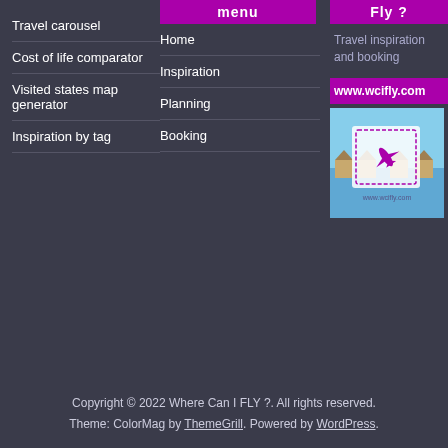Travel carousel
Cost of life comparator
Visited states map generator
Inspiration by tag
menu
Home
Inspiration
Planning
Booking
Fly ?
Travel inspiration and booking
www.wcifly.com
[Figure (logo): wcifly.com logo with airplane icon on travel background with www.wcifly.com text]
Copyright © 2022 Where Can I FLY ?. All rights reserved. Theme: ColorMag by ThemeGrill. Powered by WordPress.